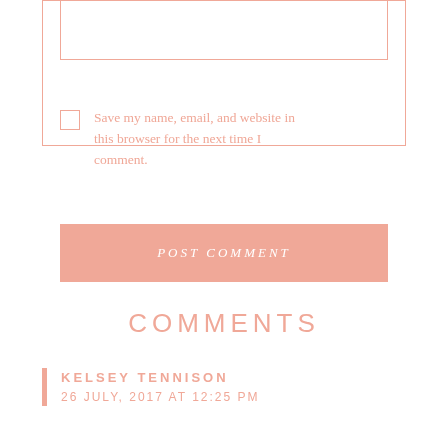[Figure (screenshot): A text area input box with salmon/pink border, partially visible at top of page]
Save my name, email, and website in this browser for the next time I comment.
POST COMMENT
COMMENTS
KELSEY TENNISON
26 JULY, 2017 AT 12:25 PM